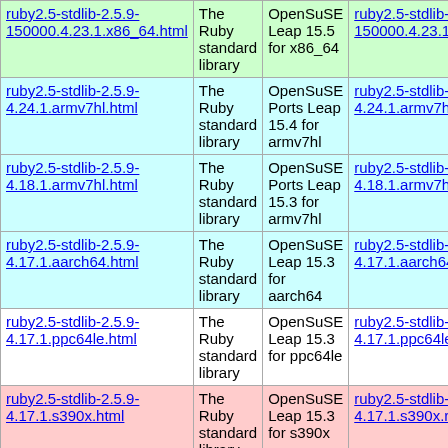| ruby2.5-stdlib-2.5.9-150000.4.23.1.x86_64.html | The Ruby standard library | OpenSuSE Leap 15.5 for x86_64 | ruby2.5-stdlib-2.5.9-150000.4.23.1.x86... |
| ruby2.5-stdlib-2.5.9-4.24.1.armv7hl.html | The Ruby standard library | OpenSuSE Ports Leap 15.4 for armv7hl | ruby2.5-stdlib-2.5.9-4.24.1.armv7hl.rpm... |
| ruby2.5-stdlib-2.5.9-4.18.1.armv7hl.html | The Ruby standard library | OpenSuSE Ports Leap 15.3 for armv7hl | ruby2.5-stdlib-2.5.9-4.18.1.armv7hl.rpm... |
| ruby2.5-stdlib-2.5.9-4.17.1.aarch64.html | The Ruby standard library | OpenSuSE Leap 15.3 for aarch64 | ruby2.5-stdlib-2.5.9-4.17.1.aarch64.rpm... |
| ruby2.5-stdlib-2.5.9-4.17.1.ppc64le.html | The Ruby standard library | OpenSuSE Leap 15.3 for ppc64le | ruby2.5-stdlib-2.5.9-4.17.1.ppc64le.rpm... |
| ruby2.5-stdlib-2.5.9-4.17.1.s390x.html | The Ruby standard library | OpenSuSE Leap 15.3 for s390x | ruby2.5-stdlib-2.5.9-4.17.1.s390x.rpm |